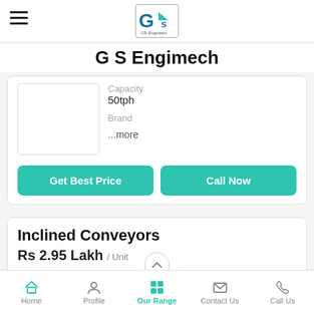G S Engimech
Capacity
50tph
Brand
...more
Get Best Price
Call Now
Inclined Conveyors
Rs 2.95 Lakh / Unit
Minimum Order Quantity
Home  Profile  Our Range  Contact Us  Call Us